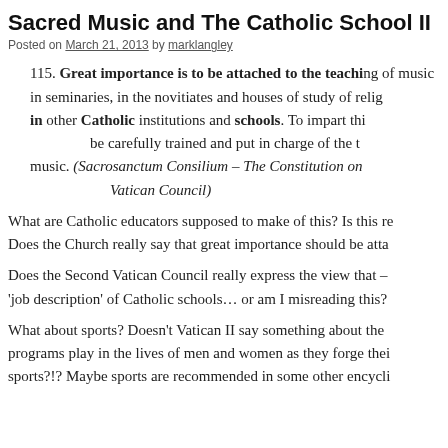Sacred Music and The Catholic School II
Posted on March 21, 2013 by marklangley
115. Great importance is to be attached to the teaching of music in seminaries, in the novitiates and houses of study of religious, in other Catholic institutions and schools. To impart this instruction, teachers are to be carefully trained and put in charge of the teaching of sacred music. (Sacrosanctum Consilium – The Constitution on the Sacred Liturgy of the Second Vatican Council)
What are Catholic educators supposed to make of this? Is this really in here? Does the Church really say that great importance should be attached to music?
Does the Second Vatican Council really express the view that – music is part of the 'job description' of Catholic schools… or am I misreading this?
What about sports? Doesn't Vatican II say something about the important role sports programs play in the lives of men and women as they forge their character? No sports?!? Maybe sports are recommended in some other encyclical